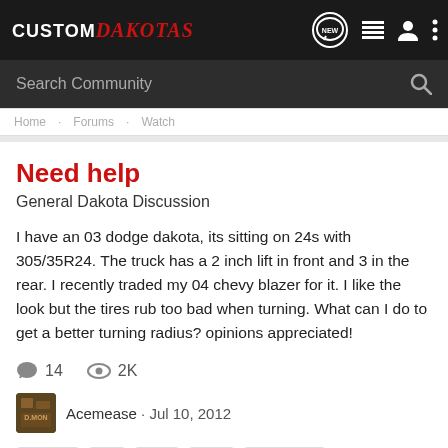CUSTOM Dakotas
Search Community
Need help
General Dakota Discussion
I have an 03 dodge dakota, its sitting on 24s with 305/35R24. The truck has a 2 inch lift in front and 3 in the rear. I recently traded my 04 chevy blazer for it. I like the look but the tires rub too bad when turning. What can I do to get a better turning radius? opinions appreciated!
14   2K
Acemease · Jul 10, 2012
24 inch   lift   rims   tires   turn radius